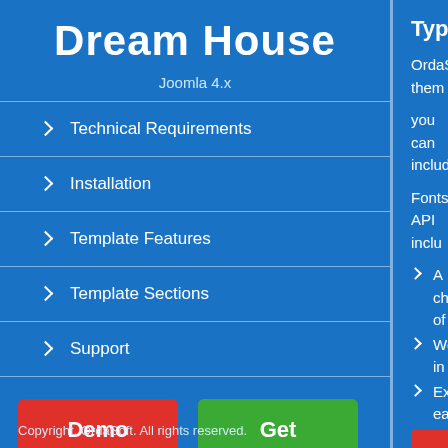Dream House
Joomla 4.x
Technical Requirements
Installation
Template Features
Template Sections
Support
Demo
Get
Copyright. OrdaSoft. All rights reserved.
Typography
OrdaSoft them...
you can includ...
Fonts API inclu...
A choice of h...
Works in mo...
Extremely ea...
In template ad...
for: Body, Body...
How to add n...
You need to ge...
should look like...